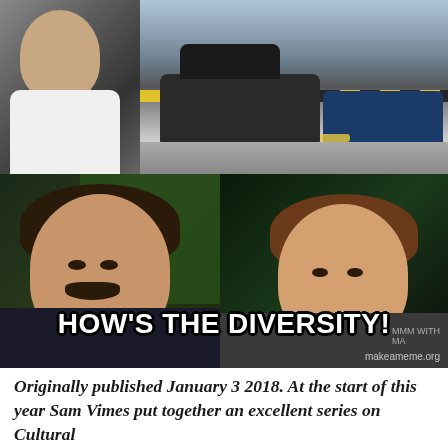[Figure (photo): A meme combining two images: top half shows a person (portrait, left) juxtaposed with a car crash scene on a street with police tape and vehicles; bottom half shows two men side by side with bold white text reading 'HOW'S THE DIVERSITY!' overlaid. Watermark: makeameme.org.]
Originally published January 3 2018. At the start of this year Sam Vimes put together an excellent series on Cultural